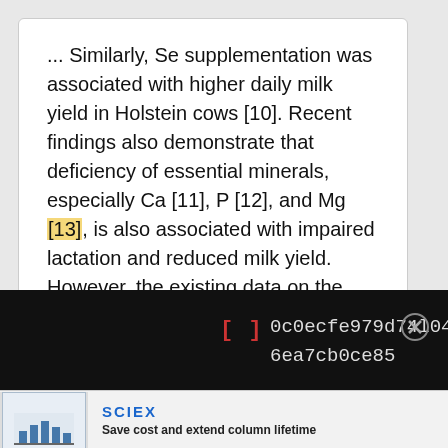... Similarly, Se supplementation was associated with higher daily milk yield in Holstein cows [10]. Recent findings also demonstrate that deficiency of essential minerals, especially Ca [11], P [12], and Mg [13], is also associated with impaired lactation and reduced milk yield. However, the existing data on the association between trace element and mineral status of dairy cows and milk productivity are rather contradictory. ...
[] 0c0ecfe979d74l04a82726ea7cb0ce85
[Figure (other): SCIEX advertisement thumbnail showing a document page with bar charts]
SCIEX
Save cost and extend column lifetime